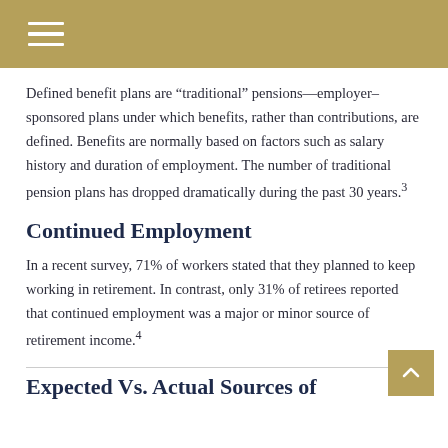Defined benefit plans are “traditional” pensions—employer–sponsored plans under which benefits, rather than contributions, are defined. Benefits are normally based on factors such as salary history and duration of employment. The number of traditional pension plans has dropped dramatically during the past 30 years.3
Continued Employment
In a recent survey, 71% of workers stated that they planned to keep working in retirement. In contrast, only 31% of retirees reported that continued employment was a major or minor source of retirement income.4
Expected Vs. Actual Sources of